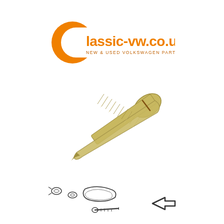[Figure (logo): Classic-vw.co.uk logo: orange circle on the left with a C shape, bold orange text reading 'lassic-vw.co.uk' and smaller text 'NEW & USED VOLKSWAGEN PARTS' below]
[Figure (photo): Close-up photograph of a zinc-plated pan-head self-tapping screw, oriented diagonally from upper-right (head) to lower-left (tip), showing threaded shank and rounded pan head]
[Figure (schematic): Line drawing schematic showing small fastener parts: two small circular/washer shapes on left, a curved clip or trim piece in center, and a small screw with a bold arrow pointing left toward it at bottom right]